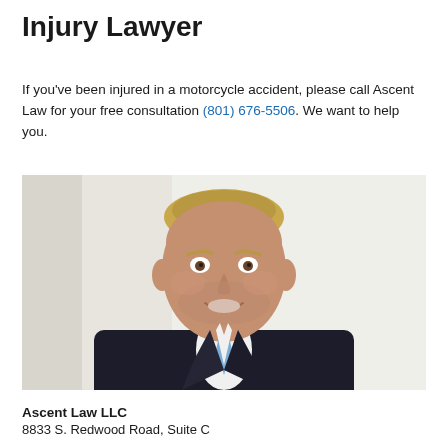Injury Lawyer
If you've been injured in a motorcycle accident, please call Ascent Law for your free consultation (801) 676-5506. We want to help you.
[Figure (photo): Professional headshot of a smiling man with blonde hair wearing a dark pinstripe suit and light blue tie, against a light gray background.]
Ascent Law LLC
8833 S. Redwood Road, Suite C